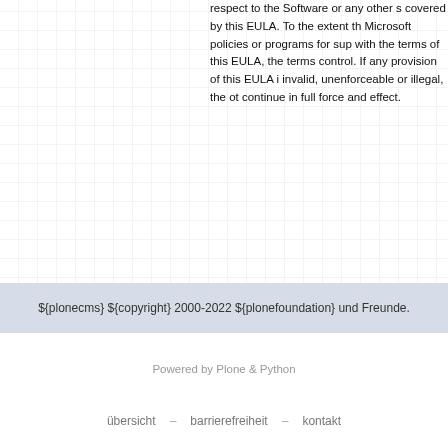respect to the Software or any other software covered by this EULA. To the extent that Microsoft policies or programs for support conflict with the terms of this EULA, the terms of this control. If any provision of this EULA is held invalid, unenforceable or illegal, the other terms continue in full force and effect.
Originalni dokument na stranici: linuxa
Preveo: Nikola Kotur
${plonecms} ${copyright} 2000-2022 ${plonefoundation} und Freunde.
Powered by Plone & Python
übersicht · barrierefreiheit · kontakt